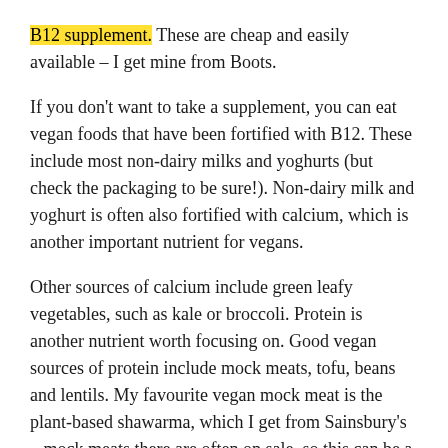B12 supplement. These are cheap and easily available – I get mine from Boots.
If you don't want to take a supplement, you can eat vegan foods that have been fortified with B12. These include most non-dairy milks and yoghurts (but check the packaging to be sure!). Non-dairy milk and yoghurt is often also fortified with calcium, which is another important nutrient for vegans.
Other sources of calcium include green leafy vegetables, such as kale or broccoli. Protein is another nutrient worth focusing on. Good vegan sources of protein include mock meats, tofu, beans and lentils. My favourite vegan mock meat is the plant-based shawarma, which I get from Sainsbury's – mock meats there are often on sale, so this can be a good place to look!